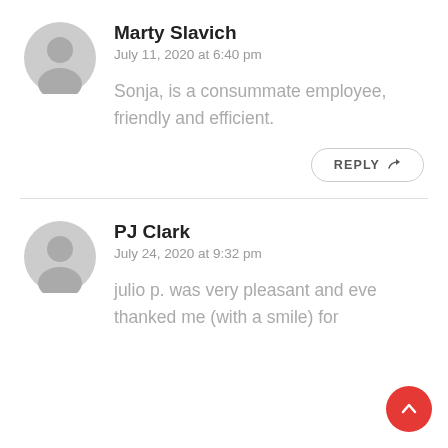Marty Slavich
July 11, 2020 at 6:40 pm
Sonja, is a consummate employee, friendly and efficient.
REPLY
PJ Clark
July 24, 2020 at 9:32 pm
julio p. was very pleasant and eve thanked me (with a smile) for